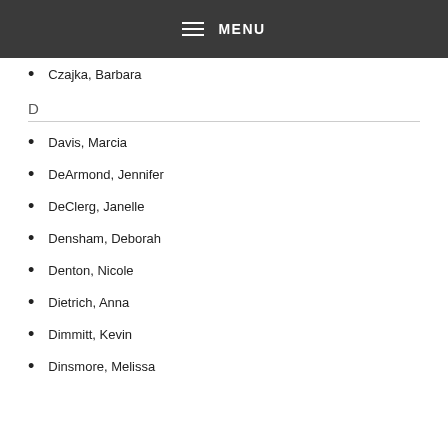MENU
Czajka, Barbara
D
Davis, Marcia
DeArmond, Jennifer
DeClerg, Janelle
Densham, Deborah
Denton, Nicole
Dietrich, Anna
Dimmitt, Kevin
Dinsmore, Melissa